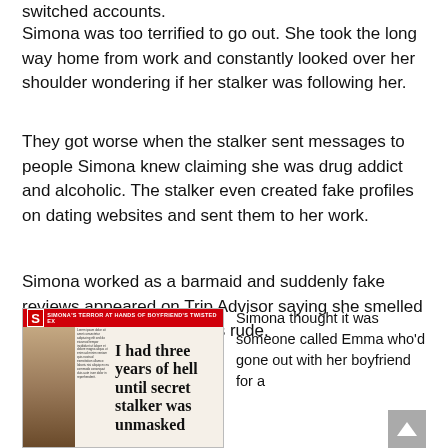switched accounts.
Simona was too terrified to go out. She took the long way home from work and constantly looked over her shoulder wondering if her stalker was following her.
They got worse when the stalker sent messages to people Simona knew claiming she was drug addict and alcoholic. The stalker even created fake profiles on dating websites and sent them to her work.
Simona worked as a barmaid and suddenly fake reviews appeared on Trip Advisor saying she smelled of fags and booze and was rude.
[Figure (photo): Newspaper clipping with headline 'I had three years of hell until secret stalker was unmasked' with photo of blonde woman in red top, and red banner 'SIMONA'S TERROR AT HANDS OF BOYFRIEND'S TWISTED EX']
Simona thought it was someone called Emma who'd gone out with her boyfriend for a